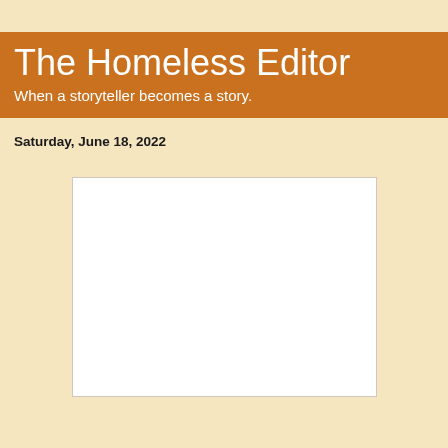The Homeless Editor
When a storyteller becomes a story.
Saturday, June 18, 2022
[Figure (other): A blank white rectangular box, possibly an image placeholder or advertisement space]